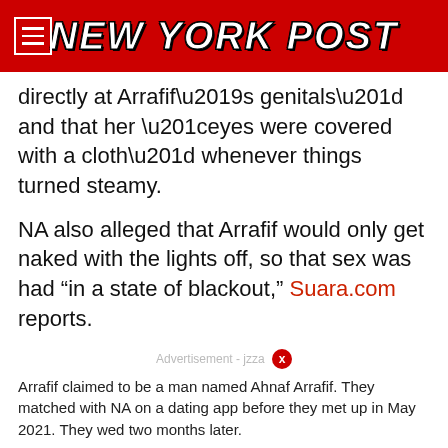NEW YORK POST
directly at Arrafif’s genitals” and that her “eyes were covered with a cloth” whenever things turned steamy.
NA also alleged that Arrafif would only get naked with the lights off, so that sex was had “in a state of blackout,” Suara.com reports.
Advertisement - jzza
Arrafif claimed to be a man named Ahnaf Arrafif. They matched with NA on a dating app before they met up in May 2021. They wed two months later.
Tribun-video.com
Arrafif reportedly forced NA to have sex with the lights off. The bride was also ordered to be blindfolded whenever the couple became intimate.
Tribun-video.com
While NA’s mother was reportedly charmed by Arrafif prior to the marriage, she soon became suspicious